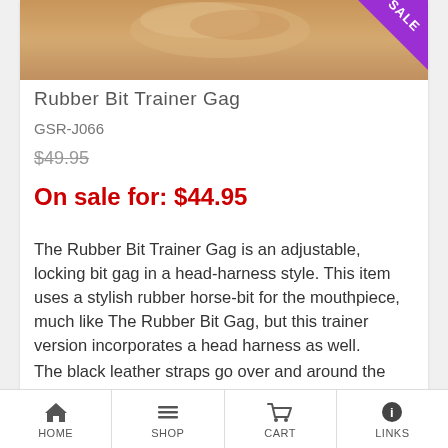[Figure (photo): Product image of Rubber Bit Trainer Gag, partially cropped, with a purple SALE banner triangle in the top right corner]
Rubber Bit Trainer Gag
GSR-J066
$49.95 (strikethrough)
On sale for: $44.95
The Rubber Bit Trainer Gag is an adjustable, locking bit gag in a head-harness style. This item uses a stylish rubber horse-bit for the mouthpiece, much like The Rubber Bit Gag, but this trainer version incorporates a head harness as well.
The black leather straps go over and around the head and neck, as well as under the chin. This gag
HOME  SHOP  CART  LINKS